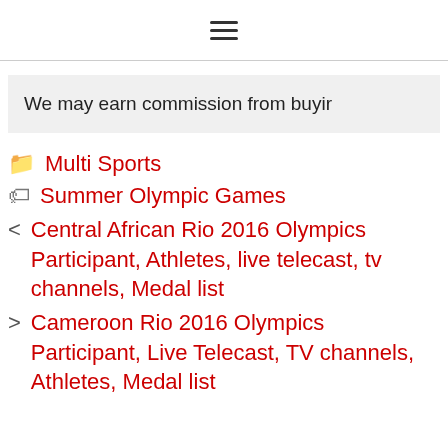≡
We may earn commission from buyir
Multi Sports
Summer Olympic Games
< Central African Rio 2016 Olympics Participant, Athletes, live telecast, tv channels, Medal list
> Cameroon Rio 2016 Olympics Participant, Live Telecast, TV channels, Athletes, Medal list